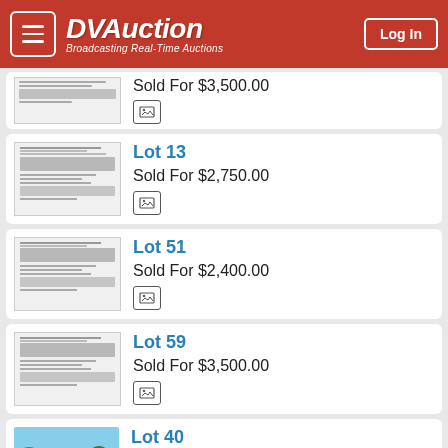DVAuction — Broadcasting Real-Time Auctions
Sold For $3,500.00
Lot 13
Sold For $2,750.00
Lot 51
Sold For $2,400.00
Lot 59
Sold For $3,500.00
Lot 40
Sold For $3,500.00